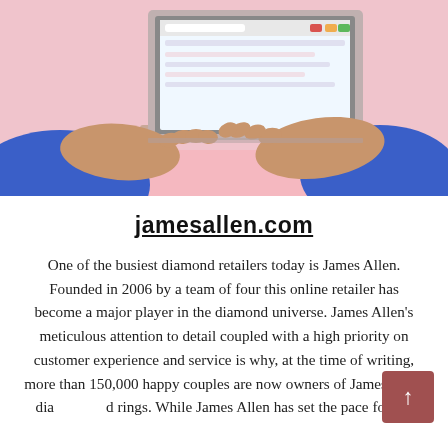[Figure (photo): Person in blue sweater typing on a rose-gold laptop on a pink desk surface]
jamesallen.com
One of the busiest diamond retailers today is James Allen. Founded in 2006 by a team of four this online retailer has become a major player in the diamond universe. James Allen’s meticulous attention to detail coupled with a high priority on customer experience and service is why, at the time of writing, more than 150,000 happy couples are now owners of James Allen diamond rings. While James Allen has set the pace for the